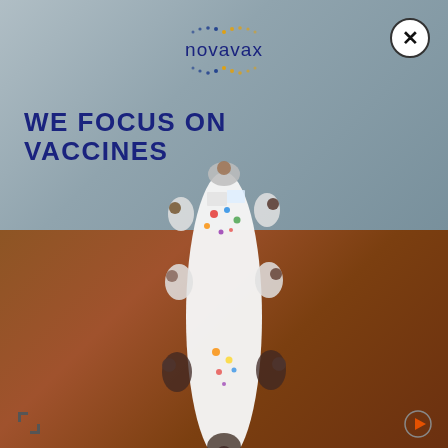[Figure (logo): Novavax logo with dotted circular pattern and company name in dark blue]
WE FOCUS ON VACCINES
[Figure (photo): Aerial top-down view of scientists or researchers in white lab coats seated around a white conference table with lab materials, transitioning from a grey-blue background (top half) to a warm brown wood floor (bottom half)]
[Figure (other): Bottom-left corner icon: square bracket/expand icon]
[Figure (other): Bottom-right corner icon: play/forward arrow button]